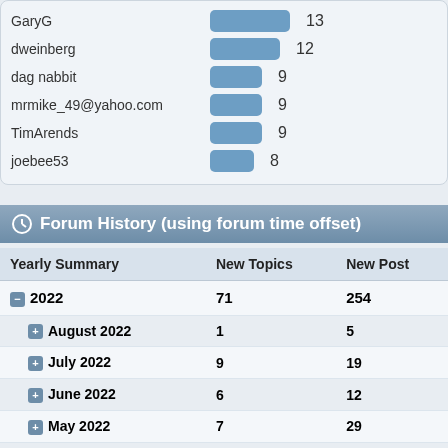[Figure (bar-chart): Top posters bar chart]
davelr Steve Cr sd10wra Jerrysnb dweinbe double6j MyKart
Forum History (using forum time offset)
| Yearly Summary | New Topics | New Posts |
| --- | --- | --- |
| 2022 | 71 | 254 |
| August 2022 | 1 | 5 |
| July 2022 | 9 | 19 |
| June 2022 | 6 | 12 |
| May 2022 | 7 | 29 |
| April 2022 | 11 | 22 |
| March 2022 | 13 | 68 |
| February 2022 | 11 | 54 |
| January 2022 | 13 | 45 |